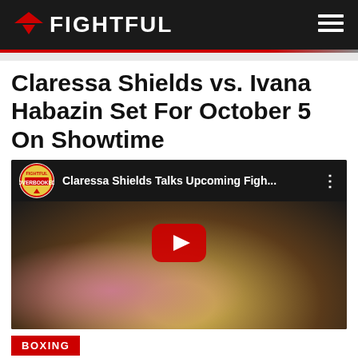FIGHTFUL
Claressa Shields vs. Ivana Habazin Set For October 5 On Showtime
[Figure (screenshot): YouTube video embed showing Claressa Shields Talks Upcoming Figh... with Overbooked badge, play button overlay, and boxing match background image]
BOXING